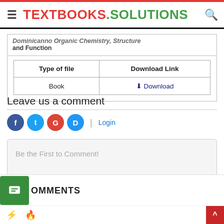TEXTBOOKS.SOLUTIONS
| Type of file | Download Link |
| --- | --- |
| Book | ⬇ Download |
Leave us a comment
Be the First to Comment!
0 COMMENTS